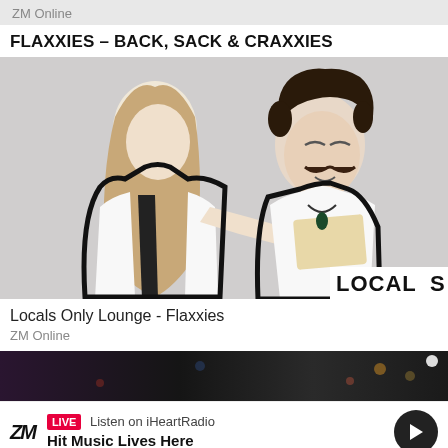ZM Online
FLAXXIES – BACK, SACK & CRAXXIES
[Figure (photo): Two people in a waxing scenario. A woman with long hair in a white uniform appears to be waxing the chest of a man with a moustache wearing an open white shirt. The image has a stylized black outline cutout effect. A 'LOCALS' badge/watermark is visible in the bottom right.]
Locals Only Lounge - Flaxxies
ZM Online
[Figure (photo): Dark background banner image showing a blurry nighttime scene]
LIVE Listen on iHeartRadio
Hit Music Lives Here
Home  Shows  Win  Menu